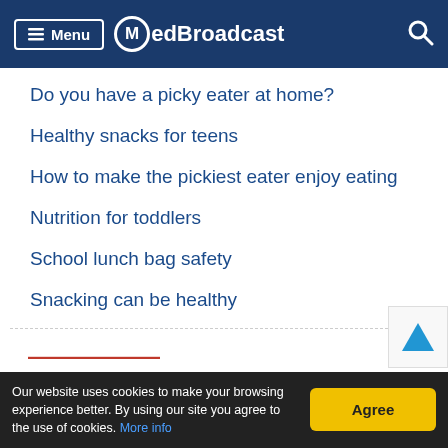MedBroadcast — Menu / Search navigation bar
Do you have a picky eater at home?
Healthy snacks for teens
How to make the pickiest eater enjoy eating
Nutrition for toddlers
School lunch bag safety
Snacking can be healthy
Our website uses cookies to make your browsing experience better. By using our site you agree to the use of cookies. More info